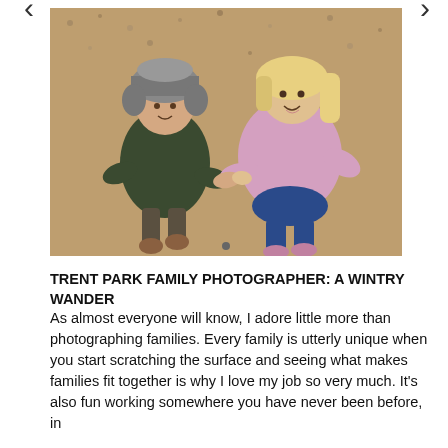[Figure (photo): Two young children holding hands outdoors on a gravel/bark surface. The boy on the left wears a dark green quilted jacket and a grey trapper hat. The girl on the right wears a pink puffer jacket and has blonde hair. Navigation arrows (< and >) are visible on the left and right sides of the image.]
TRENT PARK FAMILY PHOTOGRAPHER: A WINTRY WANDER
As almost everyone will know, I adore little more than photographing families. Every family is utterly unique when you start scratching the surface and seeing what makes families fit together is why I love my job so very much.  It's also fun working somewhere you have never been before, in